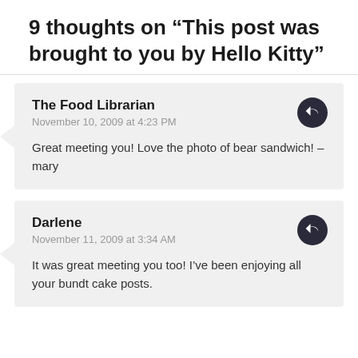9 thoughts on “This post was brought to you by Hello Kitty”
The Food Librarian
November 10, 2009 at 4:23 PM

Great meeting you! Love the photo of bear sandwich! – mary
Darlene
November 11, 2009 at 3:34 AM

It was great meeting you too! I’ve been enjoying all your bundt cake posts.